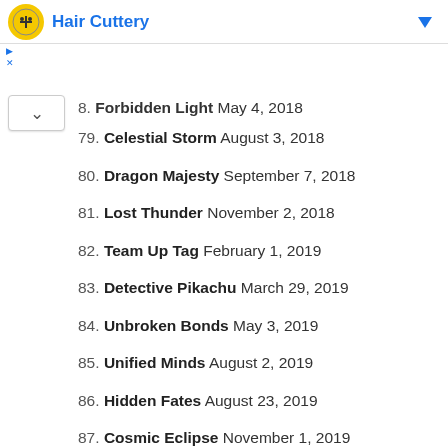[Figure (other): Advertisement banner for Hair Cuttery with logo icon and dropdown arrow]
78. Forbidden Light May 4, 2018
79. Celestial Storm August 3, 2018
80. Dragon Majesty September 7, 2018
81. Lost Thunder November 2, 2018
82. Team Up Tag February 1, 2019
83. Detective Pikachu March 29, 2019
84. Unbroken Bonds May 3, 2019
85. Unified Minds August 2, 2019
86. Hidden Fates August 23, 2019
87. Cosmic Eclipse November 1, 2019
88. Sword & Shield February 7, 2020
89. Rebel Clash May 1, 2020
90. Darkness Ablaze August 14, 2020